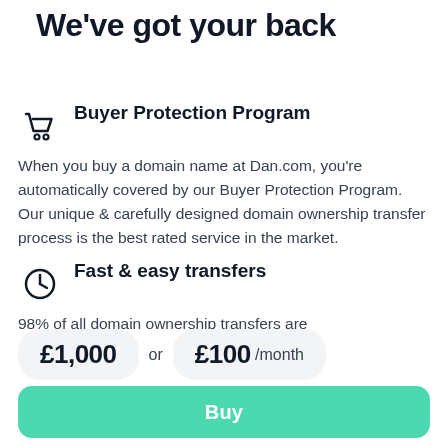We've got your back
Buyer Protection Program
When you buy a domain name at Dan.com, you're automatically covered by our Buyer Protection Program. Our unique & carefully designed domain ownership transfer process is the best rated service in the market.
Fast & easy transfers
98% of all domain ownership transfers are
£1,000 or £100 /month
Buy